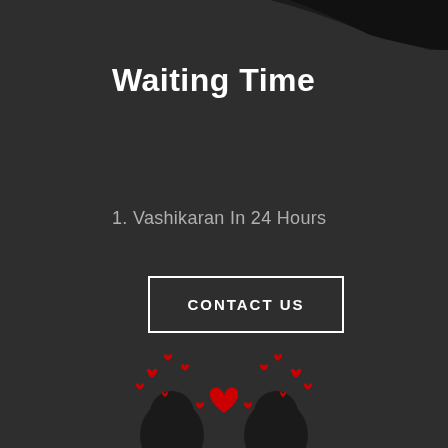[Figure (illustration): Partial silhouette illustration at top of page on dark background]
Waiting Time
1. Vashikaran In 24 Hours
CONTACT US
[Figure (illustration): Two silhouetted faces facing each other with red hearts floating above them on dark background]